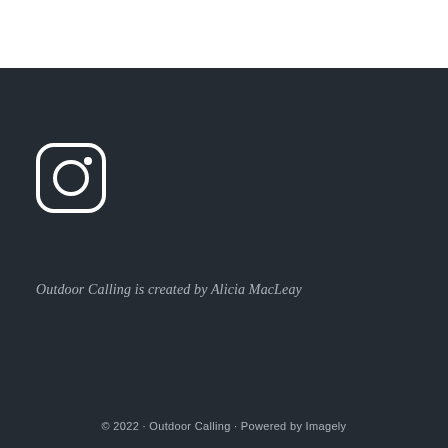[Figure (logo): Instagram icon/logo — rounded square outline with a circle and small dot, white on dark background]
Outdoor Calling is created by Alicia MacLeay
© 2022 · Outdoor Calling · Powered by Imagely